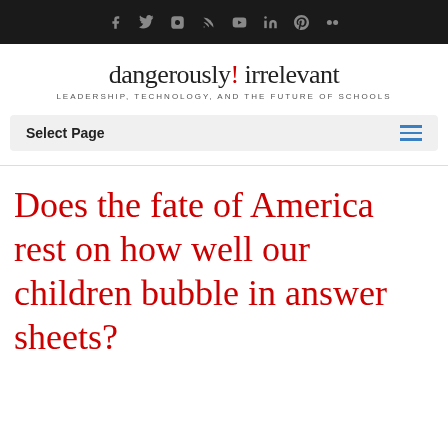Social media icons: f, twitter, instagram, rss, youtube, linkedin, pinterest, flickr
dangerously! irrelevant — LEADERSHIP, TECHNOLOGY, AND THE FUTURE OF SCHOOLS
Select Page
Does the fate of America rest on how well our children bubble in answer sheets?